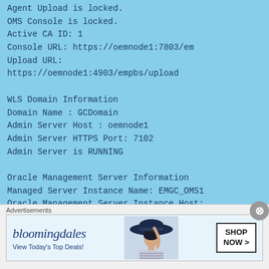Agent Upload is locked.
OMS Console is locked.
Active CA ID: 1
Console URL: https://oemnode1:7803/em
Upload URL:
https://oemnode1:4903/empbs/upload

WLS Domain Information
Domain Name : GCDomain
Admin Server Host : oemnode1
Admin Server HTTPS Port: 7102
Admin Server is RUNNING

Oracle Management Server Information
Managed Server Instance Name: EMGC_OMS1
Oracle Management Server Instance Host:
oemnode1
WebTier is Up
[Figure (other): Bloomingdales advertisement banner. Shows 'bloomingdales' logo in italic serif font, tagline 'View Today's Top Deals!', a woman wearing a wide-brim hat, and a 'SHOP NOW >' call-to-action button.]